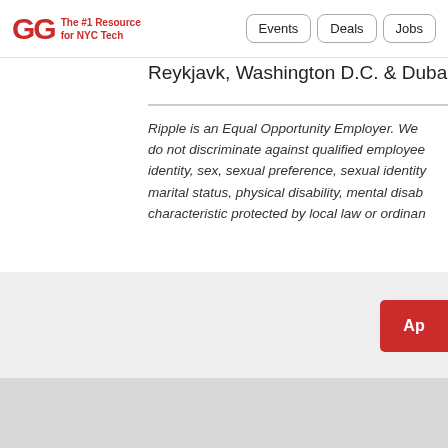GG The #1 Resource for NYC Tech | Events | Deals | Jobs
Reykjavk, Washington D.C. & Dubai.
Ripple is an Equal Opportunity Employer. We do not discriminate against qualified employees identity, sex, sexual preference, sexual identity, marital status, physical disability, mental disability, characteristic protected by local law or ordinary